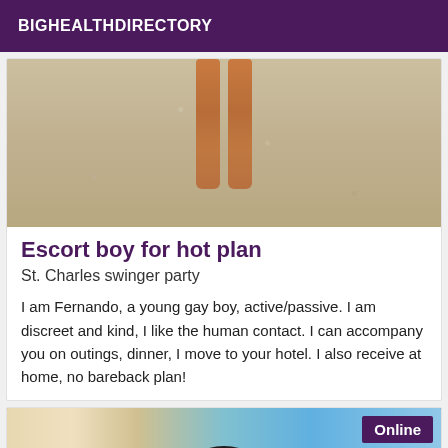BIGHEALTHDIRECTORY
[Figure (photo): Photo of a person's legs on a sandy beach]
Escort boy for hot plan
St. Charles swinger party
I am Fernando, a young gay boy, active/passive. I am discreet and kind, I like the human contact. I can accompany you on outings, dinner, I move to your hotel. I also receive at home, no bareback plan!
[Figure (photo): Street scene photo with mirror-reflected text overlay and Online badge]